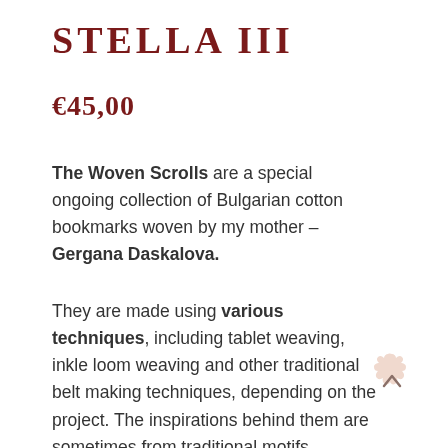STELLA III
€45,00
The Woven Scrolls are a special ongoing collection of Bulgarian cotton bookmarks woven by my mother – Gergana Daskalova.
They are made using various techniques, including tablet weaving, inkle loom weaving and other traditional belt making techniques, depending on the project. The inspirations behind them are sometimes from traditional motifs, sometimes formed free from the imagination. The works they produce
[Figure (illustration): A flower/rosette shaped badge with a light peach/beige color and an upward-pointing chevron (^) symbol in the center, used as a scroll-to-top button.]